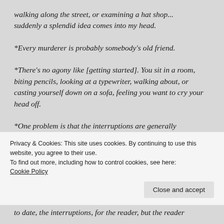walking along the street, or examining a hat shop... suddenly a splendid idea comes into my head.
*Every murderer is probably somebody's old friend.
*There's no agony like [getting started]. You sit in a room, biting pencils, looking at a typewriter, walking about, or casting yourself down on a sofa, feeling you want to cry your head off.
*One problem is that the interruptions are generally
Privacy & Cookies: This site uses cookies. By continuing to use this website, you agree to their use.
To find out more, including how to control cookies, see here: Cookie Policy
Close and accept
to date, the interruptions, for the reader, but the reader